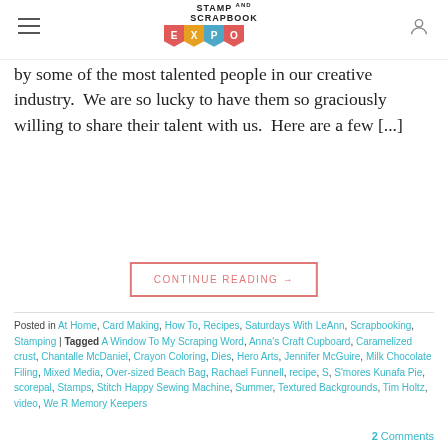Stamp and Scrapbook Expo
by some of the most talented people in our creative industry.  We are so lucky to have them so graciously willing to share their talent with us.  Here are a few [...]
CONTINUE READING →
Posted in At Home, Card Making, How To, Recipes, Saturdays With LeAnn, Scrapbooking, Stamping | Tagged A Window To My Scraping Word, Anna's Craft Cupboard, Caramelized crust, Chantalle McDaniel, Crayon Coloring, Dies, Hero Arts, Jennifer McGuire, Milk Chocolate Filing, Mixed Media, Over-sized Beach Bag, Rachael Funnell, recipe, S, S'mores Kunafa Pie, scorepal, Stamps, Stitch Happy Sewing Machine, Summer, Textured Backgrounds, Tim Holtz, video, We R Memory Keepers
2 Comments